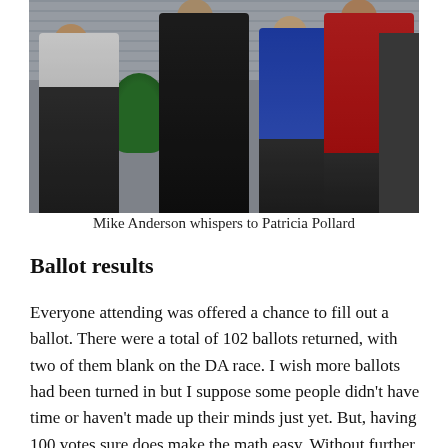[Figure (photo): Group of people at an event. A man in a white shirt stands on the left, a man in a dark suit whispers to a woman in blue, a woman in red dress stands to the right, with additional people partially visible.]
Mike Anderson whispers to Patricia Pollard
Ballot results
Everyone attending was offered a chance to fill out a ballot. There were a total of 102 ballots returned, with two of them blank on the DA race. I wish more ballots had been turned in but I suppose some people didn't have time or haven't made up their minds just yet. But, having 100 votes sure does make the math easy. Without further ado: